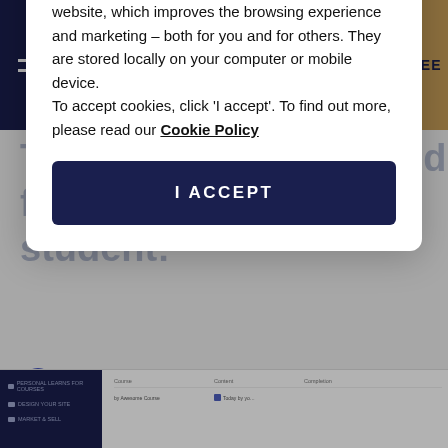THINKIFIC HELP CENTER | GET STARTED FREE
To view an Activity feed for a student:
Thinkific uses cookies on this website. They help us to know a little bit about you and how you use our website, which improves the browsing experience and marketing - both for you and for others. They are stored locally on your computer or mobile device.
To accept cookies, click 'I accept'. To find out more, please read our Cookie Policy
I ACCEPT